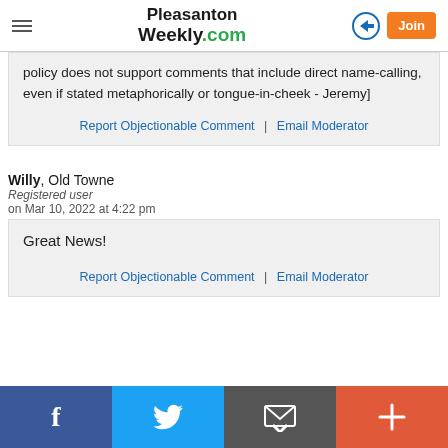Pleasanton Weekly.com
policy does not support comments that include direct name-calling, even if stated metaphorically or tongue-in-cheek - Jeremy]
Report Objectionable Comment | Email Moderator
Willy, Old Towne
Registered user
on Mar 10, 2022 at 4:22 pm
Great News!
Report Objectionable Comment | Email Moderator